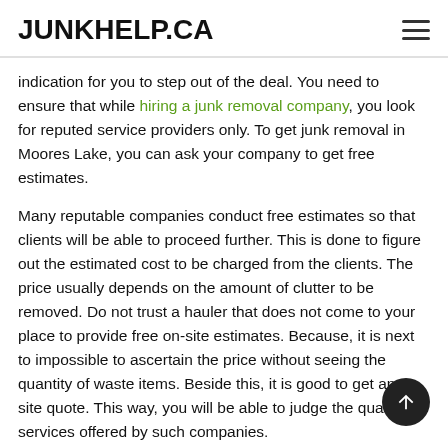JUNKHELP.CA
indication for you to step out of the deal. You need to ensure that while hiring a junk removal company, you look for reputed service providers only. To get junk removal in Moores Lake, you can ask your company to get free estimates.
Many reputable companies conduct free estimates so that clients will be able to proceed further. This is done to figure out the estimated cost to be charged from the clients. The price usually depends on the amount of clutter to be removed. Do not trust a hauler that does not come to your place to provide free on-site estimates. Because, it is next to impossible to ascertain the price without seeing the quantity of waste items. Beside this, it is good to get an on-site quote. This way, you will be able to judge the quality of services offered by such companies.